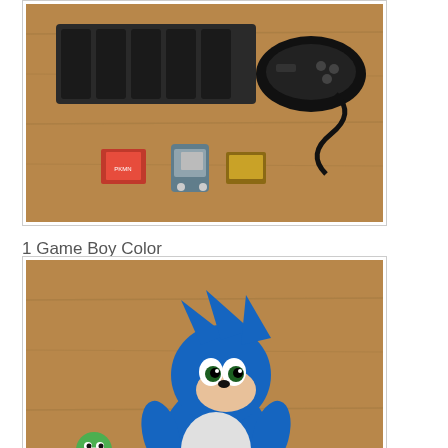[Figure (photo): Photo of Game Boy Color, Pokemon Silver cartridge, Genesis controller, Lion King cartridge, and antique french roll cast iron muffin pan on wooden table surface]
1 Game Boy Color
1 Pokemon Silver (GBC, cart only)
1 Genesis controller
1 Lion King (GEN, cart only)
1 antique "french roll" cast iron muffin pan
Paid: $1.00
[Figure (photo): Photo of Sonic the Hedgehog plush toy and Treecko beanie plush on wooden floor]
1 Sonic plush
1 Treecko beanie plush
Paid: $0.25